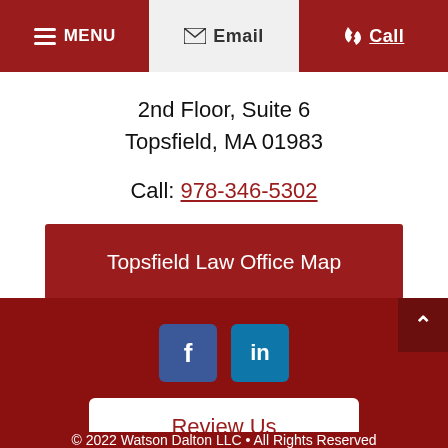MENU | Email | Call
2nd Floor, Suite 6
Topsfield, MA 01983
Call: 978-346-5302
Topsfield Law Office Map
[Figure (other): Social media icons: Facebook and LinkedIn]
Review Us
© 2022 Watson Dalton LLC • All Rights Reserved